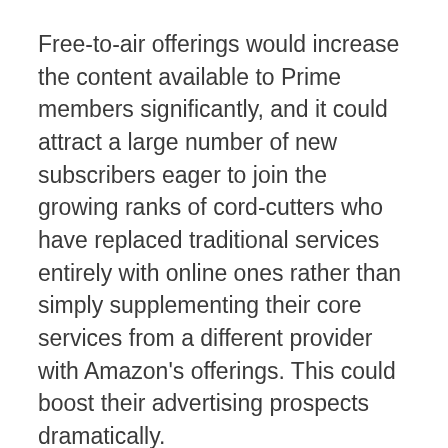Free-to-air offerings would increase the content available to Prime members significantly, and it could attract a large number of new subscribers eager to join the growing ranks of cord-cutters who have replaced traditional services entirely with online ones rather than simply supplementing their core services from a different provider with Amazon’s offerings. This could boost their advertising prospects dramatically.
Amazon doesn’t currently sell advertisements on its live-streamed channels, but some of them run their own ads. If they add a wider range of channels, they can expect far greater revenue.